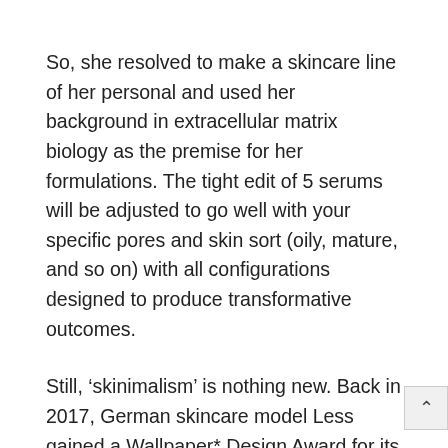So, she resolved to make a skincare line of her personal and used her background in extracellular matrix biology as the premise for her formulations. The tight edit of 5 serums will be adjusted to go well with your specific pores and skin sort (oily, mature, and so on) with all configurations designed to produce transformative outcomes.
Still, ‘skinimalism’ is nothing new. Back in 2017, German skincare model Less gained a Wallpaper* Design Award for its glossy method to skincare. Four years on, the model nonetheless hasn’t expanded past its unique three merchandise – two oils and a conventional Moroccan washing clay known as ghassoul – proving its actual